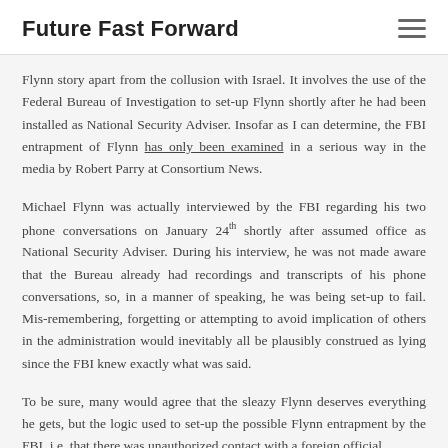Future Fast Forward
Flynn story apart from the collusion with Israel. It involves the use of the Federal Bureau of Investigation to set-up Flynn shortly after he had been installed as National Security Adviser. Insofar as I can determine, the FBI entrapment of Flynn has only been examined in a serious way in the media by Robert Parry at Consortium News.
Michael Flynn was actually interviewed by the FBI regarding his two phone conversations on January 24th shortly after assumed office as National Security Adviser. During his interview, he was not made aware that the Bureau already had recordings and transcripts of his phone conversations, so, in a manner of speaking, he was being set-up to fail. Mis-remembering, forgetting or attempting to avoid implication of others in the administration would inevitably all be plausibly construed as lying since the FBI knew exactly what was said.
To be sure, many would agree that the sleazy Flynn deserves everything he gets, but the logic used to set-up the possible Flynn entrapment by the FBI, i.e. that there was unauthorized contact with a foreign official,